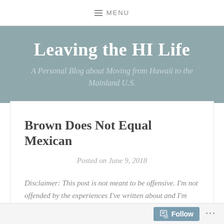≡ MENU
Leaving the HI Life
A Personal Blog about Moving from Hawaii to the Mainland U.S.
Brown Does Not Equal Mexican
Posted on June 9, 2018
Disclaimer: This post is not meant to be offensive. I'm not offended by the experiences I've written about and I'm